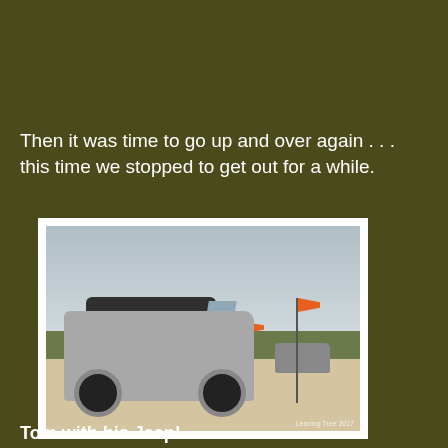Then it was time to go up and over again . . . this time we stopped to get out for a while.
[Figure (photo): A silver Jeep Wrangler Unlimited parked on sandy terrain (likely sand dunes), with orange safety flags on poles visible in the background, overcast sky, and another vehicle in the far background. Photo credit: Leaning Tree 2017.]
Tom with his Jeep!